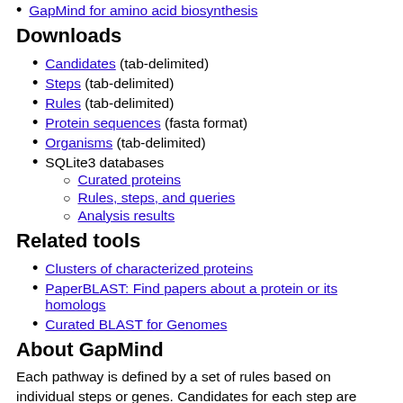GapMind for amino acid biosynthesis
Downloads
Candidates (tab-delimited)
Steps (tab-delimited)
Rules (tab-delimited)
Protein sequences (fasta format)
Organisms (tab-delimited)
SQLite3 databases
Curated proteins
Rules, steps, and queries
Analysis results
Related tools
Clusters of characterized proteins
PaperBLAST: Find papers about a protein or its homologs
Curated BLAST for Genomes
About GapMind
Each pathway is defined by a set of rules based on individual steps or genes. Candidates for each step are identified by using ublast (a fast alternative to protein BLAST) against a database of manually